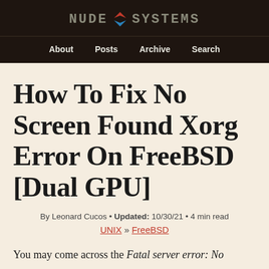NUDE SYSTEMS
About  Posts  Archive  Search
How To Fix No Screen Found Xorg Error On FreeBSD [Dual GPU]
By Leonard Cucos • Updated: 10/30/21 • 4 min read
UNIX » FreeBSD
You may come across the Fatal server error: No